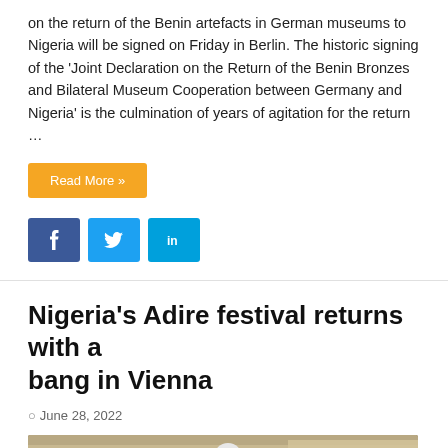on the return of the Benin artefacts in German museums to Nigeria will be signed on Friday in Berlin. The historic signing of the 'Joint Declaration on the Return of the Benin Bronzes and Bilateral Museum Cooperation between Germany and Nigeria' is the culmination of years of agitation for the return …
Read More »
Nigeria's Adire festival returns with a bang in Vienna
June 28, 2022
[Figure (photo): People in traditional African attire and white costumes carrying crosses during the Adire festival parade on a city street in Vienna.]